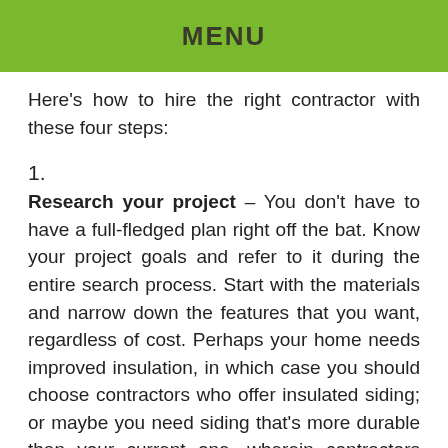MENU
Here's how to hire the right contractor with these four steps:
1.
Research your project – You don't have to have a full-fledged plan right off the bat. Know your project goals and refer to it during the entire search process. Start with the materials and narrow down the features that you want, regardless of cost. Perhaps your home needs improved insulation, in which case you should choose contractors who offer insulated siding; or maybe you need siding that's more durable than your current one, wherein contractors who offer fiber cement siding are your best bet. Find out if which contractors are certified